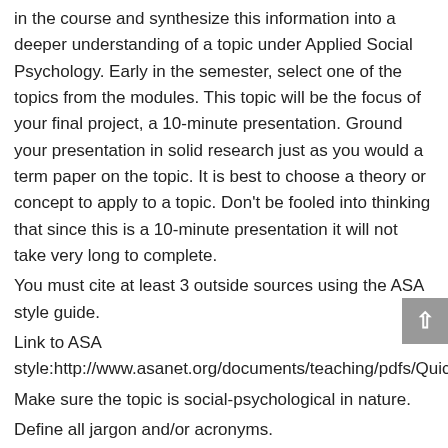in the course and synthesize this information into a deeper understanding of a topic under Applied Social Psychology. Early in the semester, select one of the topics from the modules. This topic will be the focus of your final project, a 10-minute presentation. Ground your presentation in solid research just as you would a term paper on the topic. It is best to choose a theory or concept to apply to a topic. Don't be fooled into thinking that since this is a 10-minute presentation it will not take very long to complete.
You must cite at least 3 outside sources using the ASA style guide.
Link to ASA style:http://www.asanet.org/documents/teaching/pdfs/Quick_Tips_for_ASA_Style.pdfA
Make sure the topic is social-psychological in nature.
Define all jargon and/or acronyms.
Check and recheck for spelling, grammar issues, typos, etc.